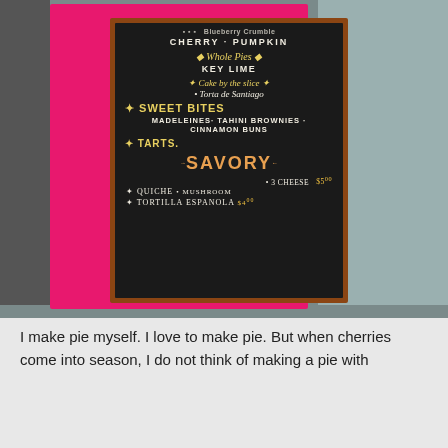[Figure (photo): A chalkboard menu sign with a pink/magenta frame and wooden inner border. The black chalkboard lists bakery/cafe items: Cherry, Pumpkin, Whole Pies, Key Lime, Cake by the slice, Torta de Santiago, Sweet Bites (Madeleines, Tahini Brownies, Cinnamon Buns), Tarts, Savory section with Quiche (3 cheese $5.00, mushroom) and Tortilla Espanola $4.]
I make pie myself. I love to make pie. But when cherries come into season, I do not think of making a pie with